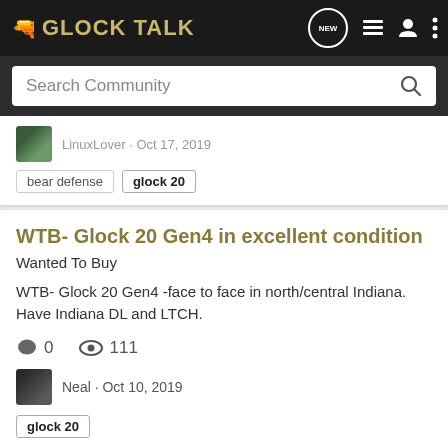GLOCK TALK
Search Community
LinuxLover · Oct 17, 2019
bear defense  glock 20
WTB- Glock 20 Gen4 in excellent condition
Wanted To Buy
WTB- Glock 20 Gen4 -face to face in north/central Indiana. Have Indiana DL and LTCH.
0  111
Neal · Oct 10, 2019
glock 20
Glock 20 Gen 4 Excellent Condition